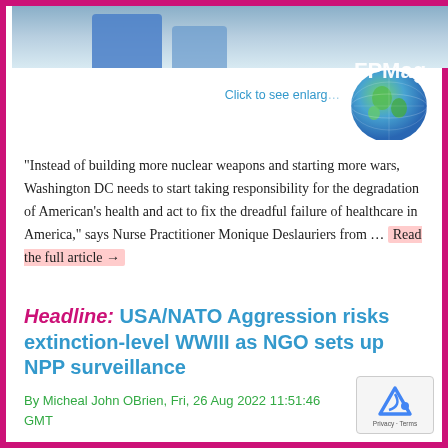[Figure (photo): Partial photo of people at a meeting table, cropped at top]
[Figure (logo): FPMag globe logo with green and blue globe and white FPMag text]
Click to see enlarge
“Instead of building more nuclear weapons and starting more wars, Washington DC needs to start taking responsibility for the degradation of American’s health and act to fix the dreadful failure of healthcare in America,” says Nurse Practitioner Monique Deslauriers from … Read the full article →
Headline: USA/NATO Aggression risks extinction-level WWIII as NGO sets up NPP surveillance
By Micheal John OBrien, Fri, 26 Aug 2022 11:51:46 GMT